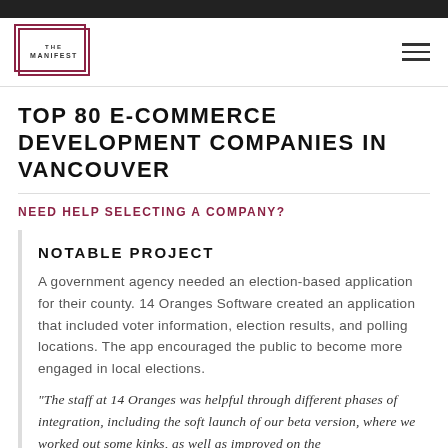THE MANIFEST
TOP 80 E-COMMERCE DEVELOPMENT COMPANIES IN VANCOUVER
NEED HELP SELECTING A COMPANY?
NOTABLE PROJECT
A government agency needed an election-based application for their county. 14 Oranges Software created an application that included voter information, election results, and polling locations. The app encouraged the public to become more engaged in local elections.
“The staff at 14 Oranges was helpful through different phases of integration, including the soft launch of our beta version, where we worked out some kinks, as well as improved on the